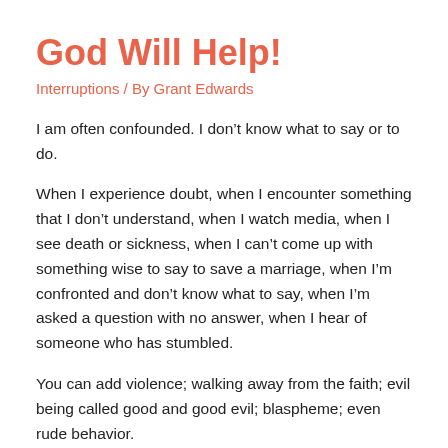God Will Help!
Interruptions / By Grant Edwards
I am often confounded. I don’t know what to say or to do.
When I experience doubt, when I encounter something that I don’t understand, when I watch media, when I see death or sickness, when I can’t come up with something wise to say to save a marriage, when I’m confronted and don’t know what to say, when I’m asked a question with no answer, when I hear of someone who has stumbled.
You can add violence; walking away from the faith; evil being called good and good evil; blaspheme; even rude behavior.
Also add my constant ability to say the wrong thing; think the wrong thoughts; get mad at people who love me; and somehow